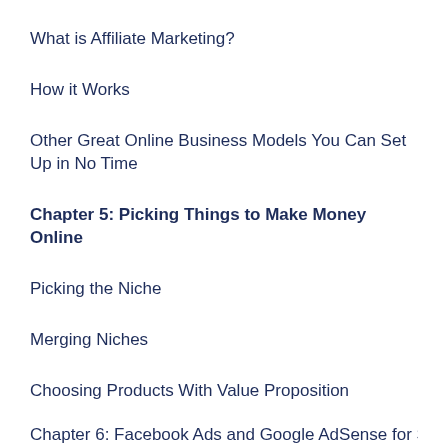What is Affiliate Marketing?
How it Works
Other Great Online Business Models You Can Set Up in No Time
Chapter 5: Picking Things to Make Money Online
Picking the Niche
Merging Niches
Choosing Products With Value Proposition
Chapter 6: Facebook Ads and Google AdSense for S…